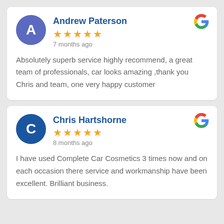Andrew Paterson — 5 stars — 7 months ago — Absolutely superb service highly recommend, a great team of professionals, car looks amazing ,thank you Chris and team, one very happy customer
Chris Hartshorne — 5 stars — 8 months ago — I have used Complete Car Cosmetics 3 times now and on each occasion there service and workmanship have been excellent. Brilliant business.